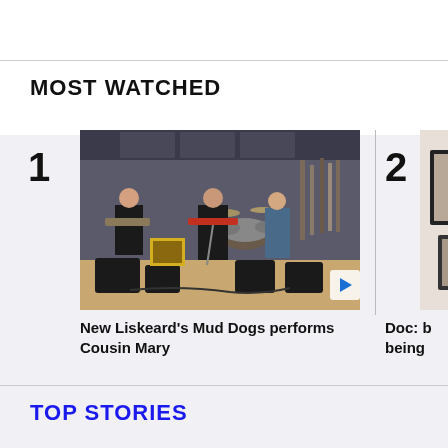MOST WATCHED
[Figure (photo): Band rehearsal photo showing musicians playing guitar and drums in a studio space with equipment]
New Liskeard's Mud Dogs performs Cousin Mary
[Figure (photo): Partially visible framed artwork or photographs on a wall]
Doc: b being
TOP STORIES